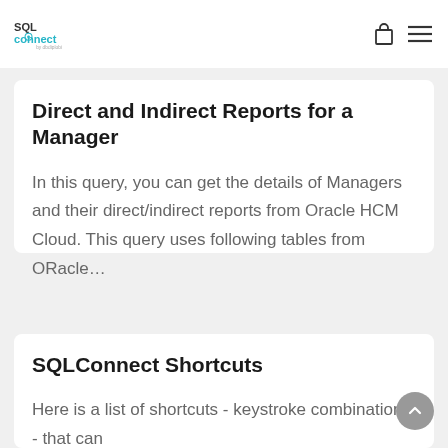SQL Connect by dbdiplobi
Direct and Indirect Reports for a Manager
In this query, you can get the details of Managers and their direct/indirect reports from Oracle HCM Cloud. This query uses following tables from ORacle…
SQLConnect Shortcuts
Here is a list of shortcuts - keystroke combinations - that can